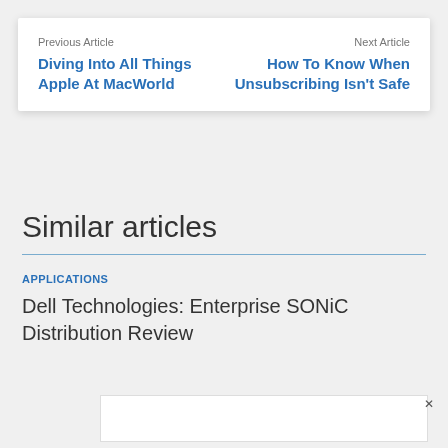Previous Article
Diving Into All Things Apple At MacWorld
Next Article
How To Know When Unsubscribing Isn't Safe
Similar articles
APPLICATIONS
Dell Technologies: Enterprise SONiC Distribution Review